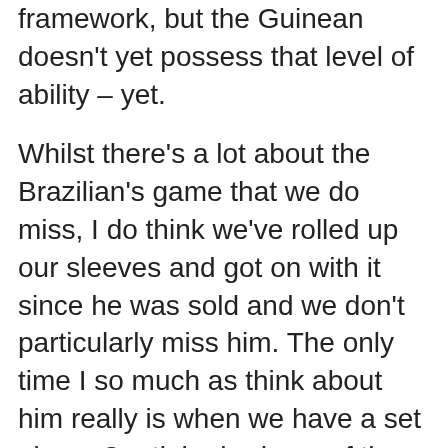framework, but the Guinean doesn't yet possess that level of ability – yet.
Whilst there's a lot about the Brazilian's game that we do miss, I do think we've rolled up our sleeves and got on with it since he was sold and we don't particularly miss him. The only time I so much as think about him really is when we have a set piece. Coutinho had one of the best set pieces in the league and was lethal from 25-30 yards out. We certainly don't have anyone else who can throw in a free kick or set piece of that kind of quality and that's something I hope we address in the summer because it's a big weakness.
I'm looking forward to the World Cup to see Brazil play and to see whether or not